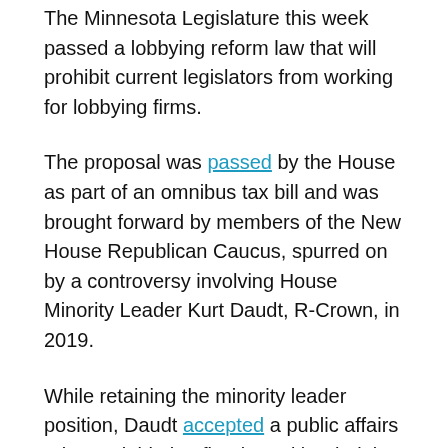The Minnesota Legislature this week passed a lobbying reform law that will prohibit current legislators from working for lobbying firms.
The proposal was passed by the House as part of an omnibus tax bill and was brought forward by members of the New House Republican Caucus, spurred on by a controversy involving House Minority Leader Kurt Daudt, R-Crown, in 2019.
While retaining the minority leader position, Daudt accepted a public affairs role at a lobbying firm based in Virginia called Stateside Associates, a firm with several massive clients including Delta, BP, and FedEx.
Daudt was immediately called upon by his fellow Republican representatives to give up one of the positions, as many considered working both jobs to be a breach of ethics and a